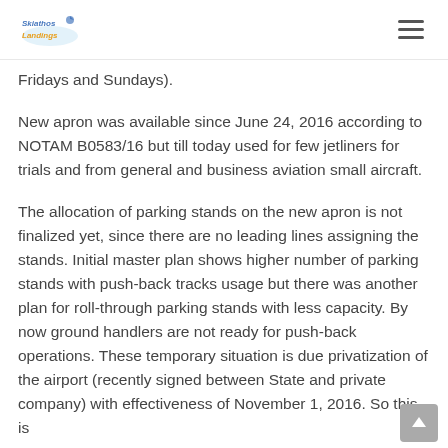Skiathos Landings
Fridays and Sundays).
New apron was available since June 24, 2016 according to NOTAM B0583/16 but till today used for few jetliners for trials and from general and business aviation small aircraft.
The allocation of parking stands on the new apron is not finalized yet, since there are no leading lines assigning the stands. Initial master plan shows higher number of parking stands with push-back tracks usage but there was another plan for roll-through parking stands with less capacity. By now ground handlers are not ready for push-back operations. These temporary situation is due privatization of the airport (recently signed between State and private company) with effectiveness of November 1, 2016. So this is